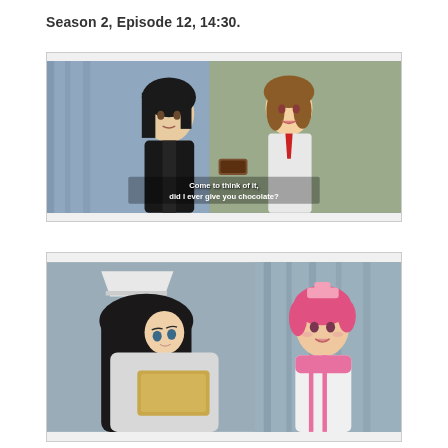Season 2, Episode 12, 14:30.
[Figure (screenshot): Anime screenshot showing two characters facing each other: a dark-haired male character in a black uniform on the left, and a brown-haired female character in a white and red uniform on the right. Subtitle reads: 'Come to think of it, did I ever give you chocolate?']
[Figure (screenshot): Anime screenshot showing two characters: a dark-haired female character lying down with long black hair in the foreground, and a pink-haired female character in a nurse-like outfit with pink accents in the background. Grey curtain background.]